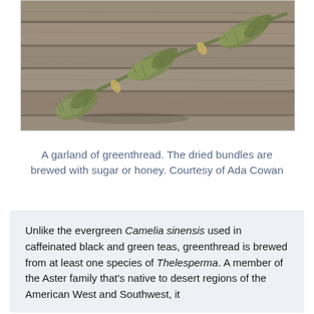[Figure (photo): A garland of dried greenthread herb bundles laid out on a wooden plank surface. The bundles are tied together and arranged diagonally.]
A garland of greenthread. The dried bundles are brewed with sugar or honey. Courtesy of Ada Cowan
Unlike the evergreen Camelia sinensis used in caffeinated black and green teas, greenthread is brewed from at least one species of Thelesperma. A member of the Aster family that's native to desert regions of the American West and Southwest, it